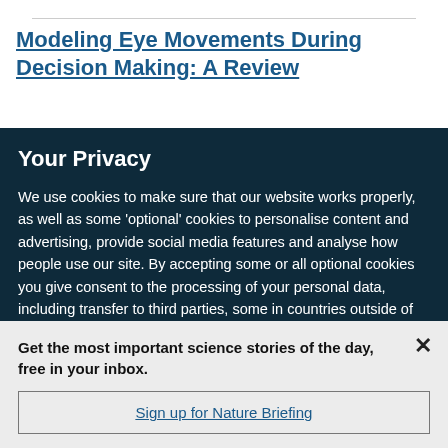Modeling Eye Movements During Decision Making: A Review
Your Privacy
We use cookies to make sure that our website works properly, as well as some 'optional' cookies to personalise content and advertising, provide social media features and analyse how people use our site. By accepting some or all optional cookies you give consent to the processing of your personal data, including transfer to third parties, some in countries outside of the European Economic Area that do not offer the same data protection standards as the country where you live. You can decide which optional cookies to accept by clicking on 'Manage Settings', where you can
Get the most important science stories of the day, free in your inbox.
Sign up for Nature Briefing